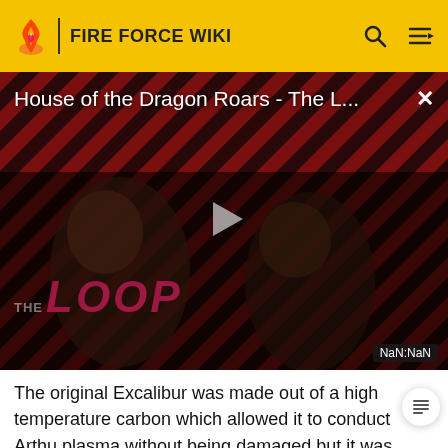FIRE FORCE WIKI
[Figure (screenshot): Video player showing 'House of the Dragon Roars - The L...' with a play button, striped red/dark background, two people visible, THE LOOP branding, and NaN:NaN timestamp]
The original Excalibur was made out of a high temperature carbon which allowed it to conduct Arthu plasma without being damaged but it was eventually destroyed by Dragon. The second Excalibur was created using the fairing from a rocket ship recovered from the